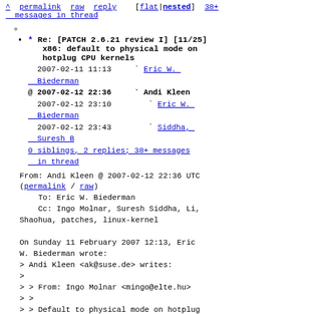^ permalink  raw  reply   [flat|nested] 38+ messages in thread
* Re: [PATCH 2.6.21 review I] [11/25] x86: default to physical mode on hotplug CPU kernels
2007-02-11 11:13   Eric W. Biederman
@ 2007-02-12 22:36   Andi Kleen
  2007-02-12 23:10   Eric W. Biederman
  2007-02-12 23:43   Siddha, Suresh B
0 siblings, 2 replies; 38+ messages in thread
From: Andi Kleen @ 2007-02-12 22:36 UTC (permalink / raw)
To: Eric W. Biederman
Cc: Ingo Molnar, Suresh Siddha, Li, Shaohua, patches, linux-kernel

On Sunday 11 February 2007 12:13, Eric W. Biederman wrote:
> Andi Kleen <ak@suse.de> writes:
>
> > From: Ingo Molnar <mingo@elte.hu>
> >
> > Default to physical mode on hotplug CPU kernels